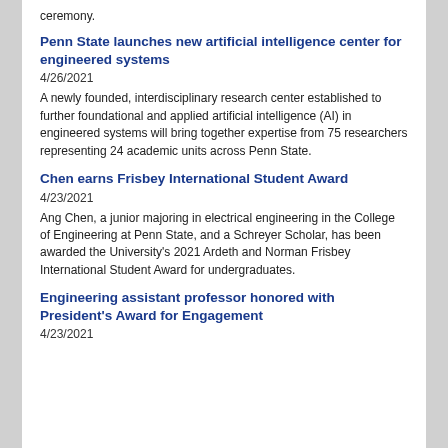ceremony.
Penn State launches new artificial intelligence center for engineered systems
4/26/2021
A newly founded, interdisciplinary research center established to further foundational and applied artificial intelligence (AI) in engineered systems will bring together expertise from 75 researchers representing 24 academic units across Penn State.
Chen earns Frisbey International Student Award
4/23/2021
Ang Chen, a junior majoring in electrical engineering in the College of Engineering at Penn State, and a Schreyer Scholar, has been awarded the University's 2021 Ardeth and Norman Frisbey International Student Award for undergraduates.
Engineering assistant professor honored with President's Award for Engagement
4/23/2021